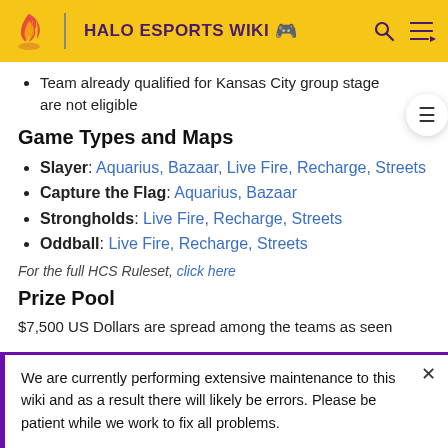HALO ESPORTS WIKI
Team already qualified for Kansas City group stage are not eligible
Game Types and Maps
Slayer: Aquarius, Bazaar, Live Fire, Recharge, Streets
Capture the Flag: Aquarius, Bazaar
Strongholds: Live Fire, Recharge, Streets
Oddball: Live Fire, Recharge, Streets
For the full HCS Ruleset, click here
Prize Pool
$7,500 US Dollars are spread among the teams as seen
We are currently performing extensive maintenance to this wiki and as a result there will likely be errors. Please be patient while we work to fix all problems.